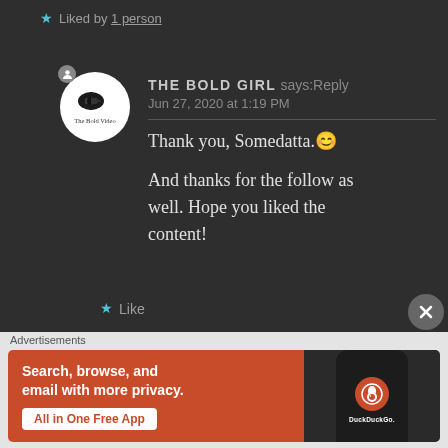Liked by 1 person
THE BOLD GIRL says: Reply
Jun 27, 2020 at 1:19 PM
Thank you, Somedatta.
And thanks for the follow as well. Hope you liked the content!
Like
Advertisements
[Figure (screenshot): DuckDuckGo advertisement banner with orange background showing 'Search, browse, and email with more privacy. All in One Free App' with a DuckDuckGo app screenshot on the right side]